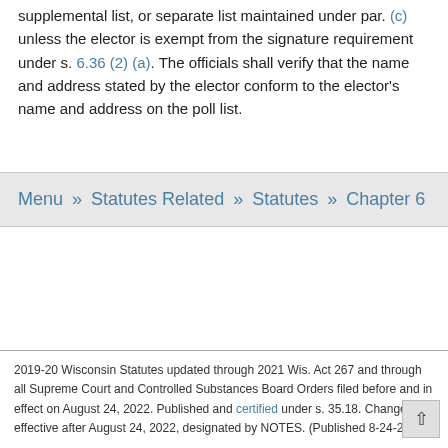supplemental list, or separate list maintained under par. (c) unless the elector is exempt from the signature requirement under s. 6.36 (2) (a). The officials shall verify that the name and address stated by the elector conform to the elector's name and address on the poll list.
Menu » Statutes Related » Statutes » Chapter 6
2019-20 Wisconsin Statutes updated through 2021 Wis. Act 267 and through all Supreme Court and Controlled Substances Board Orders filed before and in effect on August 24, 2022. Published and certified under s. 35.18. Changes effective after August 24, 2022, designated by NOTES. (Published 8-24-22)